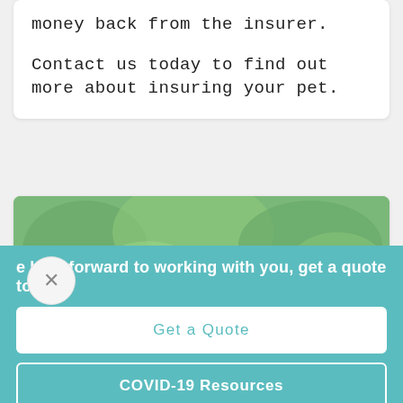money back from the insurer.

Contact us today to find out more about insuring your pet.
[Figure (photo): A Jack Russell Terrier dog holding a yellow spiky ball in its mouth, with a green bokeh background.]
e look forward to working with you, get a quote today!
Get a Quote
COVID-19 Resources